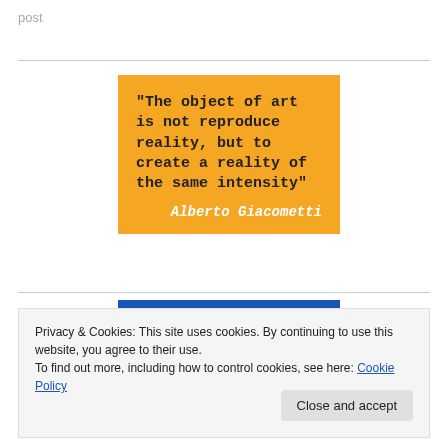post
[Figure (illustration): Orange/yellow quote card with black bold monospace text of Alberto Giacometti quote and white italic author attribution]
Privacy & Cookies: This site uses cookies. By continuing to use this website, you agree to their use.
To find out more, including how to control cookies, see here: Cookie Policy
Close and accept